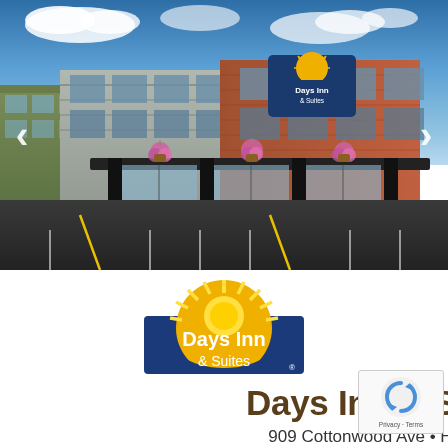[Figure (photo): Exterior photo of Days Inn & Suites hotel building with parking lot in foreground, blue sky with clouds, showing the hotel sign on the facade, with navigation arrows on left and right sides]
[Figure (logo): Days Inn & Suites logo: blue rectangle with white text 'Days Inn & Suites' and yellow sunburst arc above]
Days Inn & Suites Duluth
909 Cottonwood Ave • Hwy 53 N & Hwy 194 •